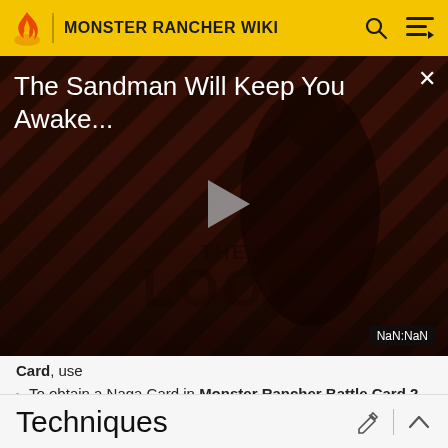MONSTER RANCHER WIKI
[Figure (screenshot): Video advertisement overlay showing 'The Sandman Will Keep You Awake...' title text over a dark diagonal-striped background with a stylized figure, a play button in the center, 'THE LOOP' watermark, a close X button, and a NaN:NaN time indicator badge.]
Card, use
To obtain a Naga Card in Monster Rancher Battle Card 2, use
Techniques